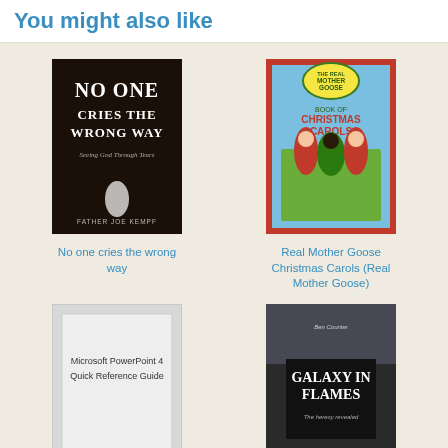You might also like
[Figure (illustration): Book cover: No One Cries the Wrong Way by Father Joe Kempf. Dark background with large white text.]
No one cries the wrong way
[Figure (illustration): Book cover: Real Mother Goose Book of Christmas Carols. Colorful illustration with red and white checkered border.]
Real Mother Goose Christmas Carols (Real Mother Goose)
[Figure (illustration): Book cover: Microsoft PowerPoint 4 Quick Reference Guide. Light gray cover with text.]
[Figure (illustration): Book cover: Galaxy in Flames by Ben Counter. Dark cover with dramatic imagery.]